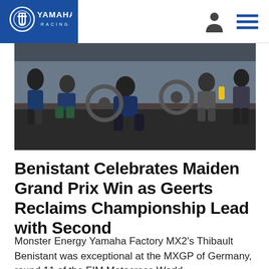YAMAHA RACING
[Figure (photo): Group of motocross riders and team members sitting/crouching on the ground outdoors near motorcycles, in race gear, on a gravel/asphalt surface.]
Benistant Celebrates Maiden Grand Prix Win as Geerts Reclaims Championship Lead with Second
Monster Energy Yamaha Factory MX2's Thibault Benistant was exceptional at the MXGP of Germany, round 11 of the FIM Motocross World